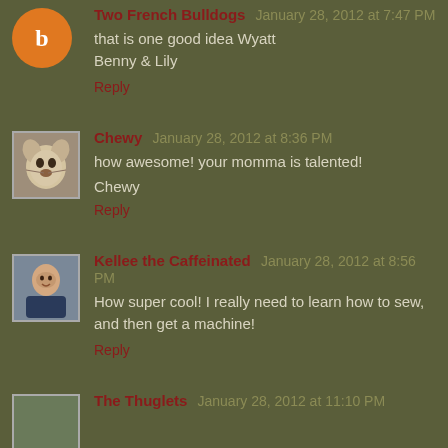Two French Bulldogs January 28, 2012 at 7:47 PM
that is one good idea Wyatt
Benny & Lily
Reply
Chewy January 28, 2012 at 8:36 PM
how awesome! your momma is talented!
Chewy
Reply
Kellee the Caffeinated January 28, 2012 at 8:56 PM
How super cool! I really need to learn how to sew, and then get a machine!
Reply
The Thuglets January 28, 2012 at 11:10 PM